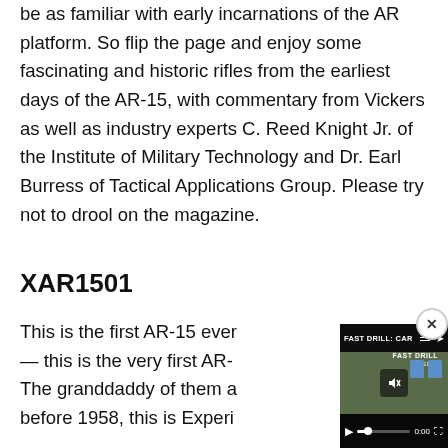be as familiar with early incarnations of the AR platform. So flip the page and enjoy some fascinating and historic rifles from the earliest days of the AR-15, with commentary from Vickers as well as industry experts C. Reed Knight Jr. of the Institute of Military Technology and Dr. Earl Burress of Tactical Applications Group. Please try not to drool on the magazine.
XAR1501
This is the first AR-15 ever — this is the very first AR-... The granddaddy of them a... before 1958, this is Experi...
[Figure (screenshot): Video overlay showing 'FAST DRILL: CAR...' with playback controls, mute button, blue target shapes on a green-brown background, progress bar showing 0:00, and a close (x) button in the top-right corner.]